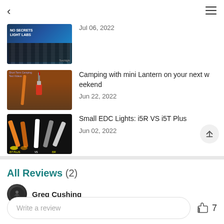< ≡
[Figure (screenshot): Thumbnail image with blue background and grid pattern, text 'NO SECRETS LIGHT LABS']
Jul 06, 2022
[Figure (photo): Camping lantern thumbnail with brown/dark background]
Camping with mini Lantern on your next weekend
Jun 22, 2022
[Figure (photo): Small EDC flashlight comparison image on dark background, i5T PLUS vs i5R]
Small EDC Lights: i5R VS i5T Plus
Jun 02, 2022
All Reviews (2)
Greg Cushing
Write a review
7